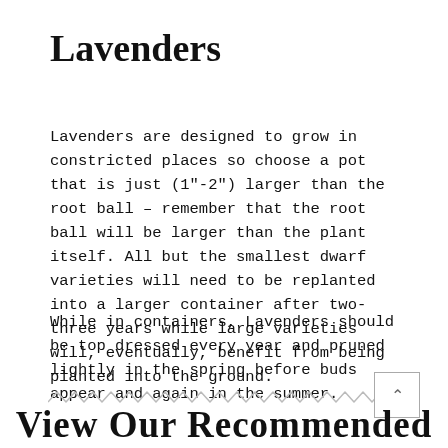Lavenders
Lavenders are designed to grow in constricted places so choose a pot that is just (1"-2") larger than the root ball – remember that the root ball will be larger than the plant itself. All but the smallest dwarf varieties will need to be replanted into a larger container after two-three years while large varieties will, eventually, benefit from being planted into the ground.
While in containers, Lavenders should be top dressed every year and pruned lightly in the spring before buds appear and again in the summer.
[Figure (other): Zigzag/wavy decorative divider line]
View Our Recommended